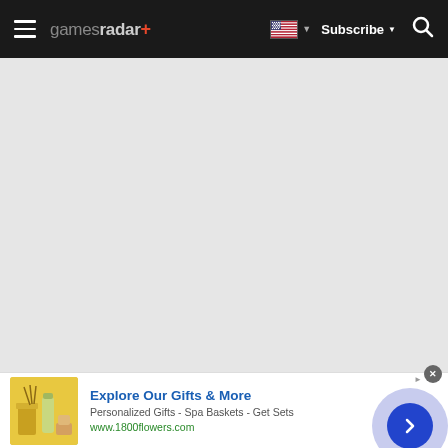gamesradar+ | Subscribe | Search
[Figure (screenshot): Gray empty content area below the GamesRadar+ navigation header]
[Figure (photo): Advertisement banner: 1800flowers.com - Explore Our Gifts & More, Personalized Gifts - Spa Baskets - Get Sets, www.1800flowers.com, with product image of spa/gift items and a navigation arrow button]